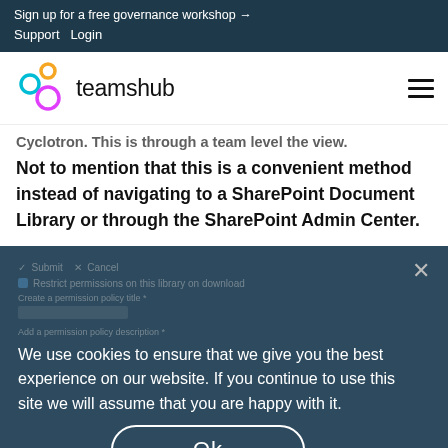Sign up for a free governance workshop →
Support   Login
[Figure (logo): Teamshub logo with three interconnected circles in cyan, yellow, and magenta, followed by the text 'teamshub']
Cyclotron. This is through a team level the view. Not to mention that this is a convenient method instead of navigating to a SharePoint Document Library or through the SharePoint Admin Center.
We use cookies to ensure that we give you the best experience on our website. If you continue to use this site we will assume that you are happy with it.
Ok